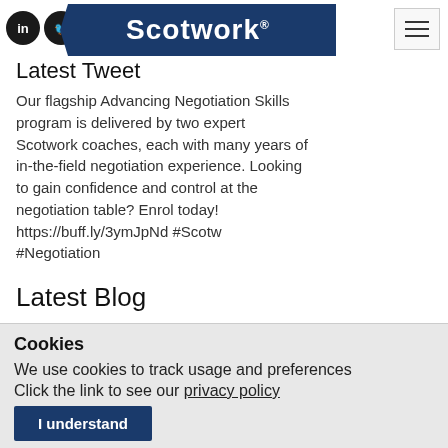[Figure (logo): Scotwork logo on dark blue banner with arrow/chevron shape, social media icons (LinkedIn, Twitter, Facebook) and hamburger menu button]
Latest Tweet
Our flagship Advancing Negotiation Skills program is delivered by two expert Scotwork coaches, each with many years of in-the-field negotiation experience. Looking to gain confidence and control at the negotiation table? Enrol today! https://buff.ly/3ymJpNd #Scotw #Negotiation
Latest Blog
Cookies
We use cookies to track usage and preferences
Click the link to see our privacy policy
I understand